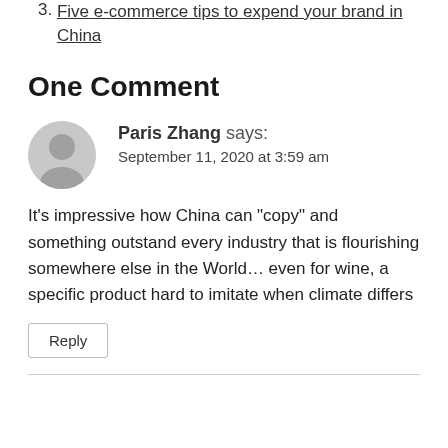3. Five e-commerce tips to expend your brand in China
One Comment
Paris Zhang says:
September 11, 2020 at 3:59 am
It's impressive how China can “copy” and something outstand every industry that is flourishing somewhere else in the World… even for wine, a specific product hard to imitate when climate differs
Reply